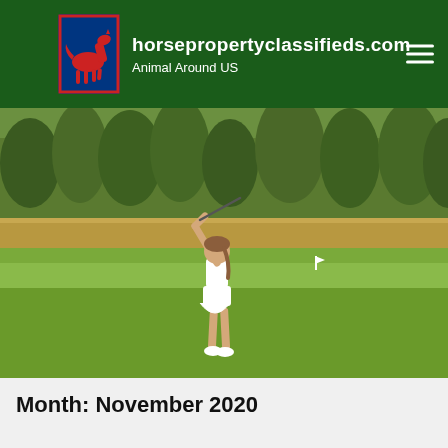horsepropertyclassifieds.com Animal Around US
[Figure (photo): A young girl in white dress and skirt swinging a golf club on a golf course, surrounded by green fairway and trees in the background.]
Month: November 2020